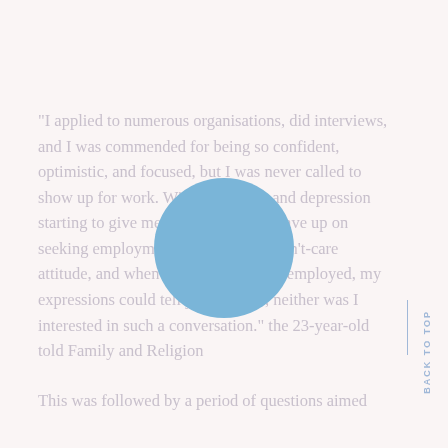"I applied to numerous organisations, did interviews, and I was commended for being so confident, optimistic, and focused, but I was never called to show up for work. With frustration and depression starting to give me their best shot, I gave up on seeking employment. I just had the don't-care attitude, and when asked about being employed, my expressions could tell you I wasn't, neither was I interested in such a conversation." the 23-year-old told Family and Religion
[Figure (illustration): A solid light blue circle overlaid on the text]
This was followed by a period of questions aimed